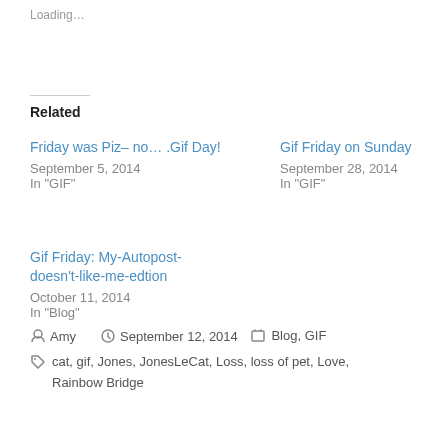Loading…
Related
Friday was Piz– no… .Gif Day!
September 5, 2014
In "GIF"
Gif Friday on Sunday
September 28, 2014
In "GIF"
Gif Friday: My-Autopost-doesn't-like-me-edtion
October 11, 2014
In "Blog"
Amy  September 12, 2014  Blog, GIF
cat, gif, Jones, JonesLeCat, Loss, loss of pet, Love, Rainbow Bridge